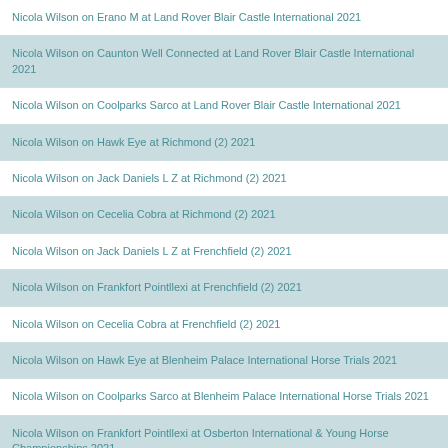Nicola Wilson on Erano M at Land Rover Blair Castle International 2021
Nicola Wilson on Caunton Well Connected at Land Rover Blair Castle International 2021
Nicola Wilson on Coolparks Sarco at Land Rover Blair Castle International 2021
Nicola Wilson on Hawk Eye at Richmond (2) 2021
Nicola Wilson on Jack Daniels L Z at Richmond (2) 2021
Nicola Wilson on Cecelia Cobra at Richmond (2) 2021
Nicola Wilson on Jack Daniels L Z at Frenchfield (2) 2021
Nicola Wilson on Frankfort Pointllexi at Frenchfield (2) 2021
Nicola Wilson on Cecelia Cobra at Frenchfield (2) 2021
Nicola Wilson on Hawk Eye at Blenheim Palace International Horse Trials 2021
Nicola Wilson on Coolparks Sarco at Blenheim Palace International Horse Trials 2021
Nicola Wilson on Frankfort Pointllexi at Osberton International & Young Horse Championships 2021